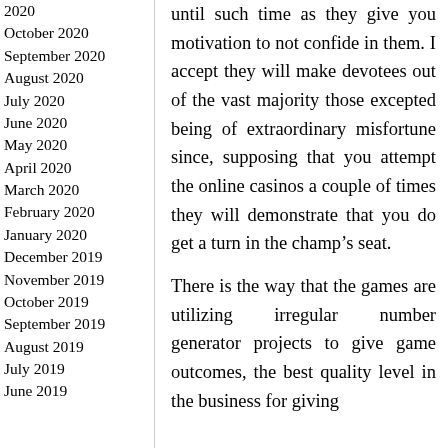2020
October 2020
September 2020
August 2020
July 2020
June 2020
May 2020
April 2020
March 2020
February 2020
January 2020
December 2019
November 2019
October 2019
September 2019
August 2019
July 2019
June 2019
until such time as they give you motivation to not confide in them. I accept they will make devotees out of the vast majority those excepted being of extraordinary misfortune since, supposing that you attempt the online casinos a couple of times they will demonstrate that you do get a turn in the champ’s seat.
There is the way that the games are utilizing irregular number generator projects to give game outcomes, the best quality level in the business for giving